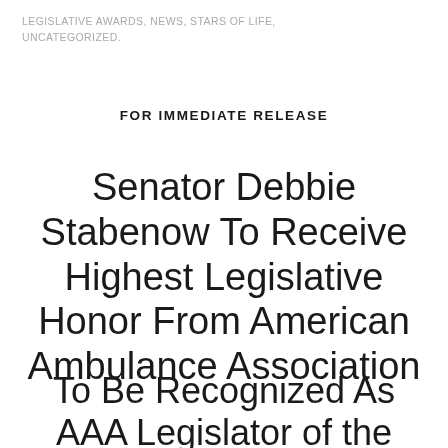LEGISLATIVE AWARDS, NEWS, STARS OF LIFE, UNCATEGORIZED.
FOR IMMEDIATE RELEASE
Senator Debbie Stabenow To Receive Highest Legislative Honor From American Ambulance Association
To Be Recognized As AAA Legislator of the Year